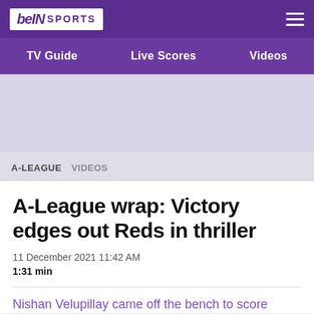[Figure (logo): beIN SPORTS logo in white box on purple background header with hamburger menu]
TV Guide   Live Scores   Videos
[Figure (other): Light purple advertisement/banner placeholder area]
A-LEAGUE   VIDEOS
A-League wrap: Victory edges out Reds in thriller
11 December 2021 11:42 AM
1:31 min
Nishan Velupillay came off the bench to score